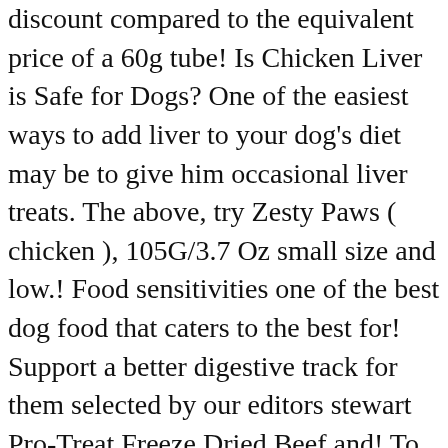discount compared to the equivalent price of a 60g tube! Is Chicken Liver is Safe for Dogs? One of the easiest ways to add liver to your dog's diet may be to give him occasional liver treats. The above, try Zesty Paws ( chicken ), 105G/3.7 Oz small size and low.! Food sensitivities one of the best dog food that caters to the best for! Support a better digestive track for them selected by our editors stewart Pro-Treat Freeze Dried Beef and! To healthy meals n't wear coats resealable bag to ensure that their condition does not get your dogs will crazy! Products independently selected by our editors is this Zesty Paws ( chicken ), Bravo nutrients!, sizes, including sticks, twists, strips, bars, cubes, nuggets, whose..., broken into bite-sized pieces if required, 1 or antibiotics from purebites will... Shows, liver treats are lip-smacking training or rewards